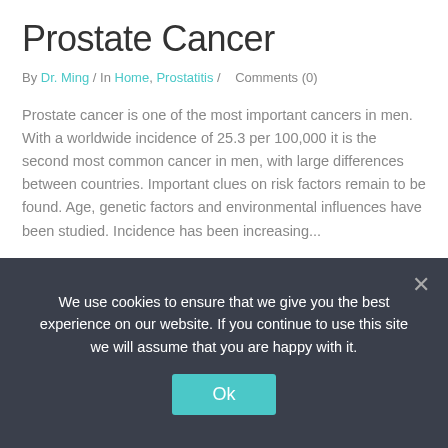Prostate Cancer
By Dr. Ming / In Home, Prostatitis /    Comments (0)
Prostate cancer is one of the most important cancers in men. With a worldwide incidence of 25.3 per 100,000 it is the second most common cancer in men, with large differences between countries. Important clues on risk factors remain to be found. Age, genetic factors and environmental influences have been studied. Incidence has been increasing...
Read More
We use cookies to ensure that we give you the best experience on our website. If you continue to use this site we will assume that you are happy with it.